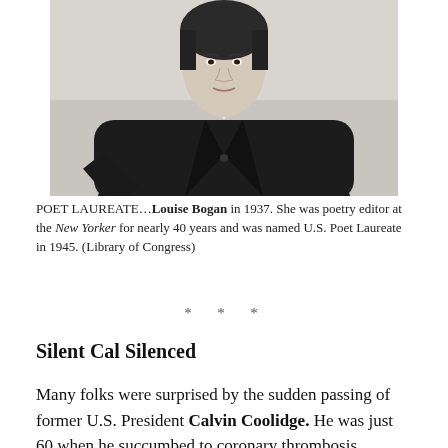[Figure (photo): Black and white photograph of Louise Bogan, a woman in a dark jacket, taken in 1937.]
POET LAUREATE…Louise Bogan in 1937. She was poetry editor at the New Yorker for nearly 40 years and was named U.S. Poet Laureate in 1945. (Library of Congress)
* * *
Silent Cal Silenced
Many folks were surprised by the sudden passing of former U.S. President Calvin Coolidge. He was just 60 when he succumbed to coronary thrombosis